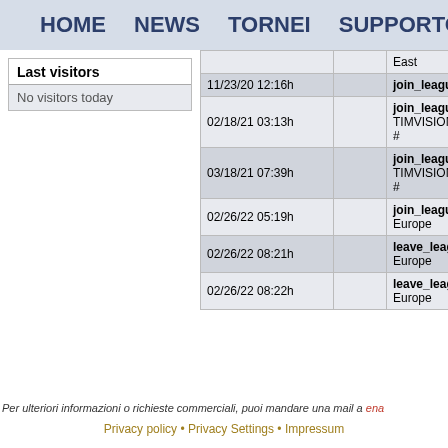HOME  NEWS  TORNEI  SUPPORTO
Last visitors
No visitors today
| Date/Time |  | Action |
| --- | --- | --- |
|  |  | East |
| 11/23/20 12:16h |  | join_league |
| 02/18/21 03:13h |  | join_league
TIMVISION # |
| 03/18/21 07:39h |  | join_league
TIMVISION # |
| 02/26/22 05:19h |  | join_league
Europe |
| 02/26/22 08:21h |  | leave_leagu
Europe |
| 02/26/22 08:22h |  | leave_leagu
Europe |
Per ulteriori informazioni o richieste commerciali, puoi mandare una mail a ena
Privacy policy • Privacy Settings • Impressum